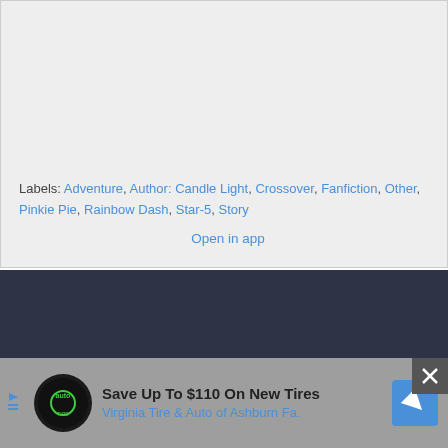Labels: Adventure, Author: Candle Light, Crossover, Fanfiction, Other, Pinkie Pie, Rainbow Dash, Star-5, Story
Open in app
[Figure (screenshot): Dark navy/slate colored background section]
Save Up To $110 On New Tires Virginia Tire & Auto of Ashburn Fa.